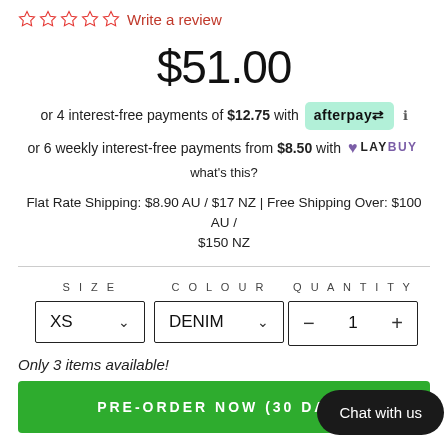☆ ☆ ☆ ☆ ☆ Write a review
$51.00
or 4 interest-free payments of $12.75 with afterpay ℹ
or 6 weekly interest-free payments from $8.50 with ♥ LAYBUY what's this?
Flat Rate Shipping: $8.90 AU / $17 NZ | Free Shipping Over: $100 AU / $150 NZ
SIZE XS ∨   COLOUR DENIM ∨   QUANTITY − 1 +
Only 3 items available!
PRE-ORDER NOW (30 DAYS
Chat with us
DETAILS